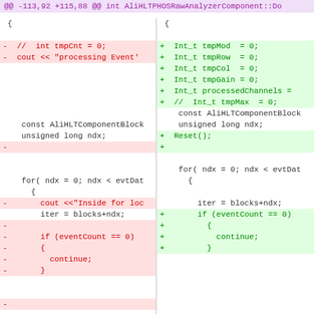@@ -113,92 +115,88 @@ int AliHLTPHOSRawAnalyzerComponent::Do
[Figure (screenshot): A unified diff view showing code changes in a C++ file (AliHLTPHOSRawAnalyzerComponent). Left panel shows removed lines (red) and context lines. Right panel shows added lines (green) and context lines. The diff shows variable declarations being changed and some debug output lines being removed.]